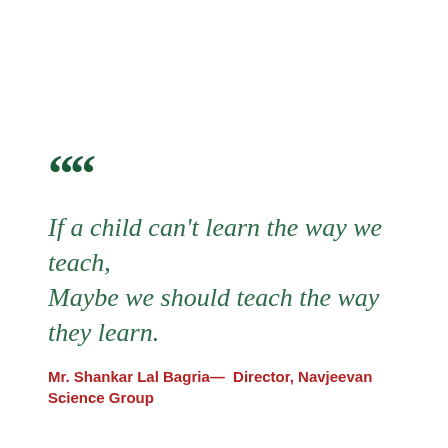““
If a child can’t learn the way we teach, Maybe we should teach the way they learn.
Mr. Shankar Lal Bagria— Director, Navjeevan Science Group